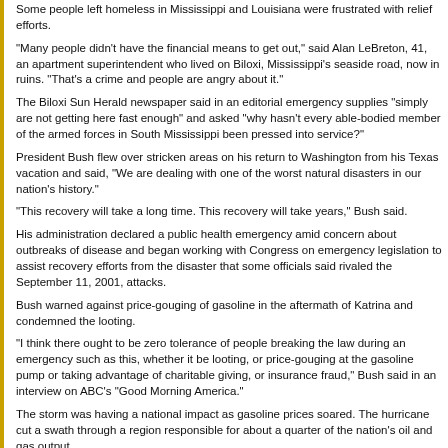Some people left homeless in Mississippi and Louisiana were frustrated with relief efforts.
"Many people didn't have the financial means to get out," said Alan LeBreton, 41, an apartment superintendent who lived on Biloxi, Mississippi's seaside road, now in ruins. "That's a crime and people are angry about it."
The Biloxi Sun Herald newspaper said in an editorial emergency supplies "simply are not getting here fast enough" and asked "why hasn't every able-bodied member of the armed forces in South Mississippi been pressed into service?"
President Bush flew over stricken areas on his return to Washington from his Texas vacation and said, "We are dealing with one of the worst natural disasters in our nation's history."
"This recovery will take a long time. This recovery will take years," Bush said.
His administration declared a public health emergency amid concern about outbreaks of disease and began working with Congress on emergency legislation to assist recovery efforts from the disaster that some officials said rivaled the September 11, 2001, attacks.
Bush warned against price-gouging of gasoline in the aftermath of Katrina and condemned the looting.
"I think there ought to be zero tolerance of people breaking the law during an emergency such as this, whether it be looting, or price-gouging at the gasoline pump or taking advantage of charitable giving, or insurance fraud," Bush said in an interview on ABC's "Good Morning America."
The storm was having a national impact as gasoline prices soared. The hurricane cut a swath through a region responsible for about a quarter of the nation's oil and gas output.
The administration said it would release oil from the nation's strategic reserves to offset losses in the Gulf of Mexico, where the storm had shut down production.
The U.S. Coast Guard reported at least 20 oil rigs or platforms missing in the Gulf of Mexico, either sunk or adrift, while officials estimated 95 percent of regional oil and natural gas production and eight refineries along the coast remained shut down.
Several crude pipelines on the Gulf Coast remained out of service due to power outages, damage and flooding.